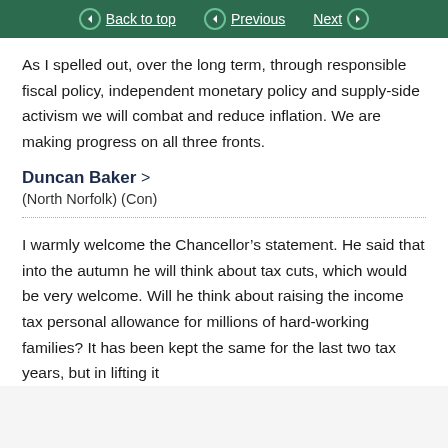Back to top   Previous   Next
As I spelled out, over the long term, through responsible fiscal policy, independent monetary policy and supply-side activism we will combat and reduce inflation. We are making progress on all three fronts.
Duncan Baker >
(North Norfolk) (Con)
I warmly welcome the Chancellor’s statement. He said that into the autumn he will think about tax cuts, which would be very welcome. Will he think about raising the income tax personal allowance for millions of hard-working families? It has been kept the same for the last two tax years, but in lifting it